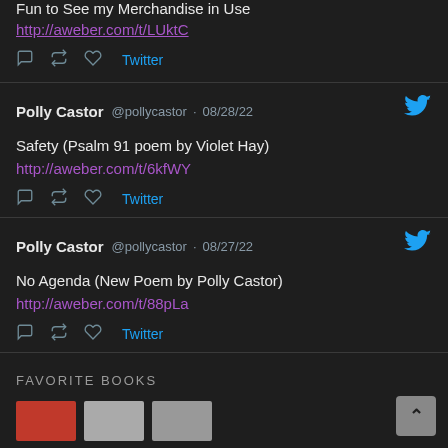Fun to See my Merchandise in Use
http://aweber.com/t/LUktC
Twitter
Polly Castor @pollycastor · 08/28/22
Safety (Psalm 91 poem by Violet Hay)
http://aweber.com/t/6kfWY
Twitter
Polly Castor @pollycastor · 08/27/22
No Agenda (New Poem by Polly Castor)
http://aweber.com/t/88pLa
Twitter
FAVORITE BOOKS
[Figure (other): Book thumbnails preview at bottom of page]